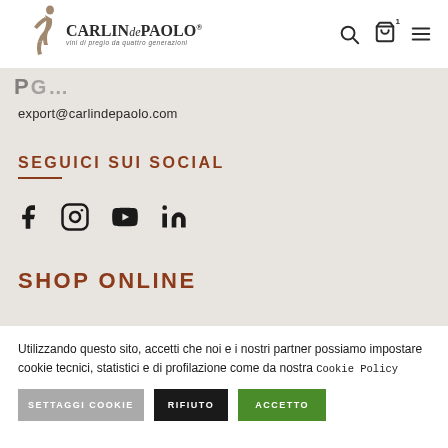[Figure (logo): CarlindePaolo logo with running figure, brand name and tagline 'vini di pregio da quattro generazioni']
export@carlindepaolo.com
SEGUICI SUI SOCIAL
[Figure (illustration): Social media icons: Facebook, Instagram, YouTube, LinkedIn]
SHOP ONLINE
Utilizzando questo sito, accetti che noi e i nostri partner possiamo impostare cookie tecnici, statistici e di profilazione come da nostra Cookie Policy
SETTAGGI COOKIE   RIFIUTO   ACCETTO